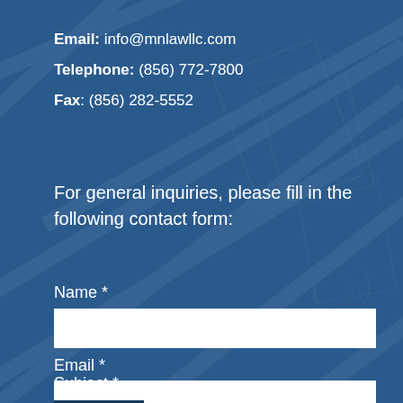Email: info@mnlawllc.com
Telephone:  (856) 772-7800
Fax: (856) 282-5552
For general inquiries, please fill in the following contact form:
Name *
Email *
Subject *
Message *